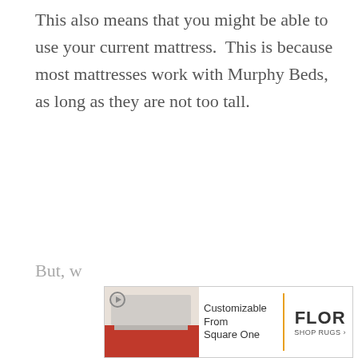This also means that you might be able to use your current mattress.  This is because most mattresses work with Murphy Beds, as long as they are not too tall.
But, w...
[Figure (other): Advertisement banner for FLOR rugs showing a room with furniture on a red rug, text 'Customizable From Square One' with FLOR SHOP RUGS logo]